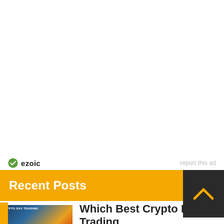[Figure (other): Ezoic ad network logo with green circular checkmark icon and bold 'ezoic' wordmark, alongside 'report this ad' link in gray]
Recent Posts
[Figure (photo): Thumbnail image for crypto day trading article with blue and orange gradient tones]
Which Best Crypto Day Trading